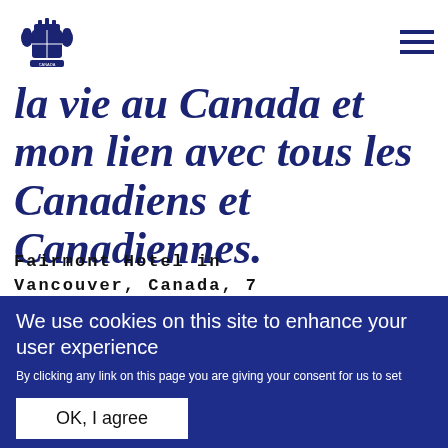[Figure (logo): Canadian Royal Coat of Arms / government crest logo in dark navy blue]
la vie au Canada et mon lien avec tous les Canadiens et Canadiennes.
Fairmont Hotel in Vancouver, Canada, 7
We use cookies on this site to enhance your user experience
By clicking any link on this page you are giving your consent for us to set cookies. No, give me more info
OK, I agree